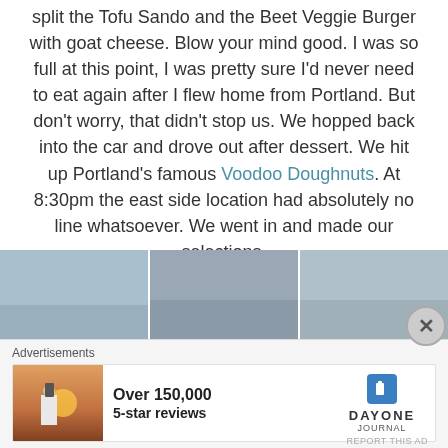split the Tofu Sando and the Beet Veggie Burger with goat cheese. Blow your mind good. I was so full at this point, I was pretty sure I'd never need to eat again after I flew home from Portland. But don't worry, that didn't stop us. We hopped back into the car and drove out after dessert. We hit up Portland's famous Voodoo Doughnuts. At 8:30pm the east side location had absolutely no line whatsoever. We went in and made our selections.
[Figure (photo): Three side-by-side photos showing decorated doughnuts from Voodoo Doughnuts on a surface, taken indoors with windows visible in background]
Advertisements
[Figure (photo): Advertisement banner for Day One Journal app showing a person photographing a sunset, with text 'Over 150,000 5-star reviews' and the Day One Journal logo]